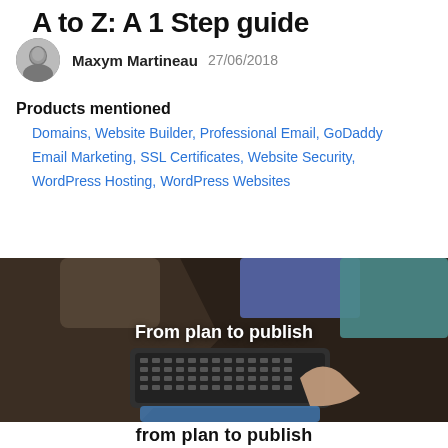A to Z: A 1 Step guide
Maxym Martineau   27/06/2018
Products mentioned
Domains, Website Builder, Professional Email, GoDaddy Email Marketing, SSL Certificates, Website Security, WordPress Hosting, WordPress Websites
[Figure (photo): Overhead view of people collaborating around a laptop and tablet, with text overlay 'From plan to publish']
from plan to publish